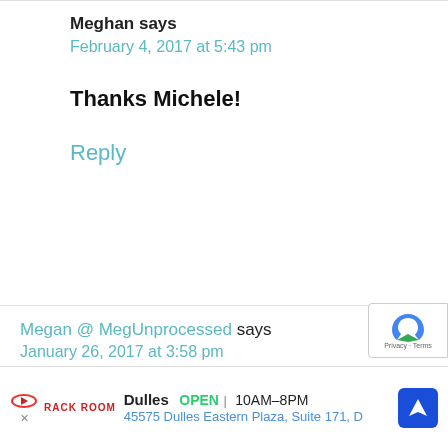Meghan says
February 4, 2017 at 5:43 pm
Thanks Michele!
Reply
Megan @ MegUnprocessed says
January 26, 2017 at 3:58 pm
The “throwing things together”
Dulles  OPEN  10AM–8PM
45575 Dulles Eastern Plaza, Suite 171, D